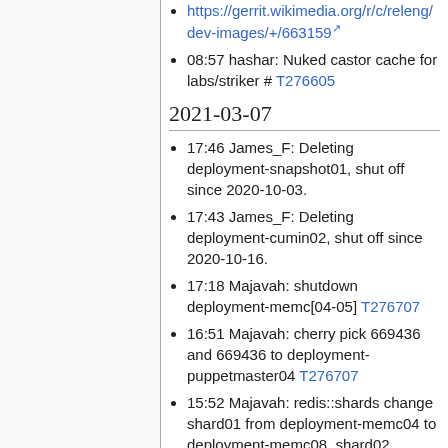https://gerrit.wikimedia.org/r/c/releng/dev-images/+/663159
08:57 hashar: Nuked castor cache for labs/striker # T276605
2021-03-07
17:46 James_F: Deleting deployment-snapshot01, shut off since 2020-10-03.
17:43 James_F: Deleting deployment-cumin02, shut off since 2020-10-16.
17:18 Majavah: shutdown deployment-memc[04-05] T276707
16:51 Majavah: cherry pick 669436 and 669436 to deployment-puppetmaster04 T276707
15:52 Majavah: redis::shards change shard01 from deployment-memc04 to deployment-memc08, shard02